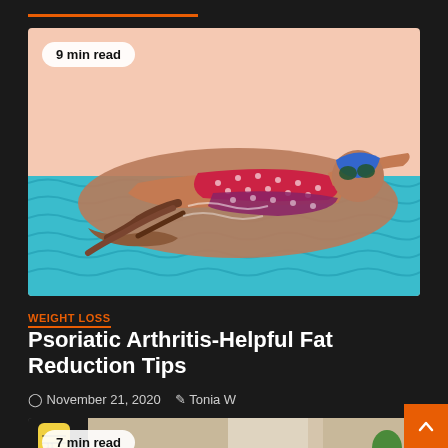[Figure (illustration): Illustration of a woman swimming in a pool, wearing a red swimsuit and blue swim cap with goggles. The background is a peach/salmon color above the water and teal wavy water below. A badge reads '9 min read'.]
9 min read
WEIGHT LOSS
Psoriatic Arthritis-Helpful Fat Reduction Tips
November 21, 2020   Tonia W
[Figure (photo): Partial photo showing a measuring tape and an indoor living room setting with a sofa and plants. A badge reads '7 min read'.]
7 min read